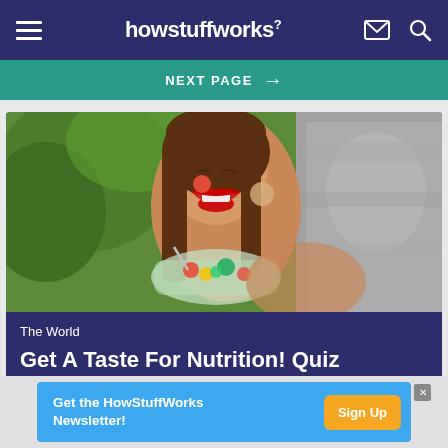howstuffworks²
NEXT PAGE →
[Figure (photo): Young woman with red lipstick laughing and eating a colorful salad from a clear bowl outdoors near rocky background]
The World
Get A Taste For Nutrition! Quiz
Get the HowStuffWorks Newsletter! Sign Up